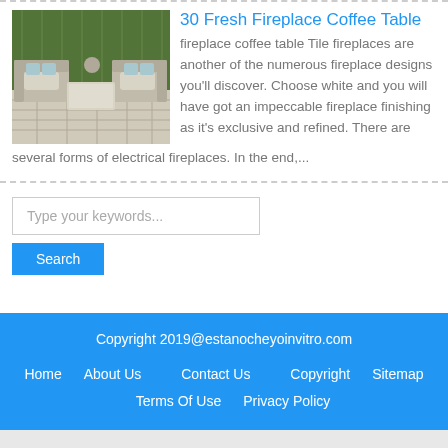[Figure (photo): Outdoor patio furniture set with wicker sofas and a coffee table on stone tile patio with green hedge background]
30 Fresh Fireplace Coffee Table
fireplace coffee table Tile fireplaces are another of the numerous fireplace designs you'll discover. Choose white and you will have got an impeccable fireplace finishing as it's exclusive and refined. There are several forms of electrical fireplaces. In the end,...
Type your keywords...
Search
Copyright 2019@estanocheyoinvitro.com
Home   About Us   Contact Us   Copyright   Sitemap
Terms Of Use   Privacy Policy